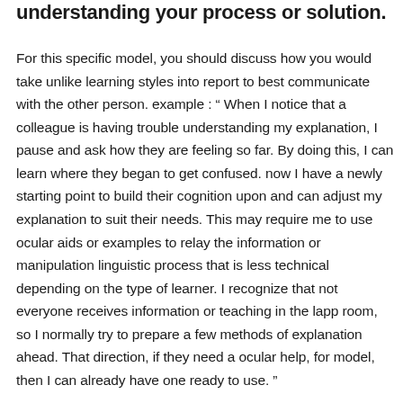understanding your process or solution.
For this specific model, you should discuss how you would take unlike learning styles into report to best communicate with the other person. example : “ When I notice that a colleague is having trouble understanding my explanation, I pause and ask how they are feeling so far. By doing this, I can learn where they began to get confused. now I have a newly starting point to build their cognition upon and can adjust my explanation to suit their needs. This may require me to use ocular aids or examples to relay the information or manipulation linguistic process that is less technical depending on the type of learner. I recognize that not everyone receives information or teaching in the lapp room, so I normally try to prepare a few methods of explanation ahead. That direction, if they need a ocular help, for model, then I can already have one ready to use. ”